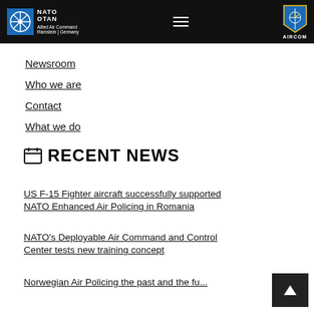[Figure (logo): NATO/OTAN Allied Air Command logo on black header bar, with AIRCOM shield logo on the right]
Newsroom
Who we are
Contact
What we do
RECENT NEWS
US F-15 Fighter aircraft successfully supported NATO Enhanced Air Policing in Romania
NATO's Deployable Air Command and Control Center tests new training concept
Norwegian Air Policing the past and the fu...